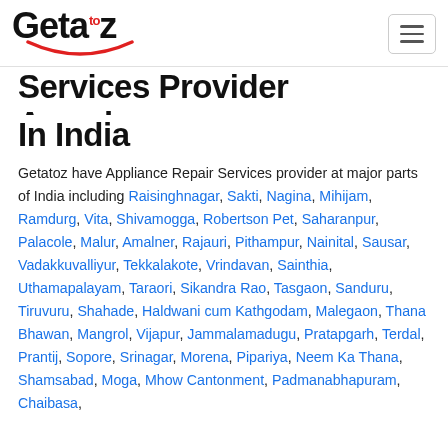[Figure (logo): Getatoz logo with smile graphic and hamburger menu button]
Services Provider Anywhere In India
Getatoz have Appliance Repair Services provider at major parts of India including Raisinghnagar, Sakti, Nagina, Mihijam, Ramdurg, Vita, Shivamogga, Robertson Pet, Saharanpur, Palacole, Malur, Amalner, Rajauri, Pithampur, Nainital, Sausar, Vadakkuvalliyur, Tekkalakote, Vrindavan, Sainthia, Uthamapalayam, Taraori, Sikandra Rao, Tasgaon, Sanduru, Tiruvuru, Shahade, Haldwani cum Kathgodam, Malegaon, Thana Bhawan, Mangrol, Vijapur, Jammalamadugu, Pratapgarh, Terdal, Prantij, Sopore, Srinagar, Morena, Pipariya, Neem Ka Thana, Shamsabad, Moga, Mhow Cantonment, Padmanabhapuram, Chaibasa,